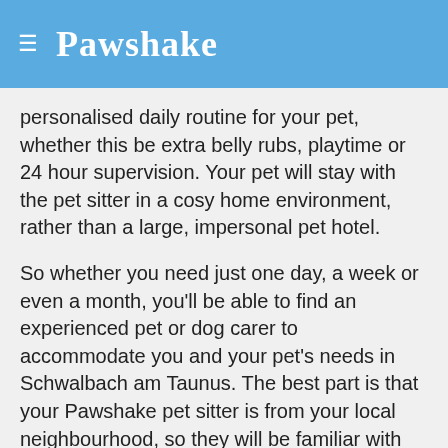Pawshake
personalised daily routine for your pet, whether this be extra belly rubs, playtime or 24 hour supervision. Your pet will stay with the pet sitter in a cosy home environment, rather than a large, impersonal pet hotel.
So whether you need just one day, a week or even a month, you'll be able to find an experienced pet or dog carer to accommodate you and your pet's needs in Schwalbach am Taunus. The best part is that your Pawshake pet sitter is from your local neighbourhood, so they will be familiar with the area.
Our pet carers also have a range of experiences which include puppies, seniors, nervous pets and dog training. So if your pet has special requirements, you'll be sure to find a pet sitter that is a good match for you.